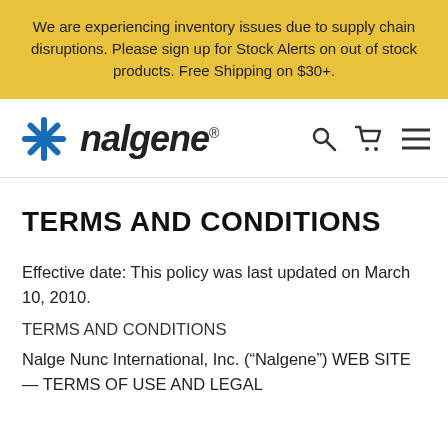We are experiencing inventory issues due to supply chain disruptions. Please sign up for Stock Alerts on out of stock products. Free Shipping on $30+.
[Figure (logo): Nalgene logo with blue snowflake icon and italic bold text 'nalgene' with registered trademark symbol, plus search, cart, and menu icons on the right]
TERMS AND CONDITIONS
Effective date: This policy was last updated on March 10, 2010.
TERMS AND CONDITIONS
Nalge Nunc International, Inc. (“Nalgene”) WEB SITE — TERMS OF USE AND LEGAL